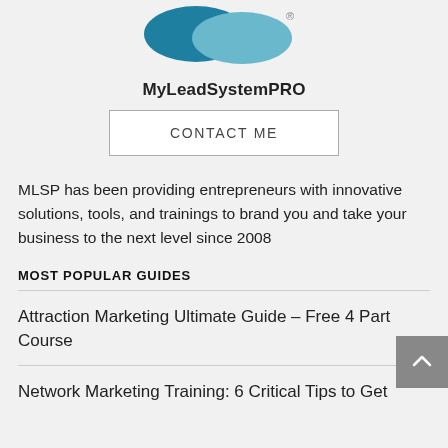[Figure (logo): MyLeadSystemPRO logo — two overlapping speech bubble shapes in dark teal and light blue with a registered trademark symbol]
MyLeadSystemPRO
CONTACT ME
MLSP has been providing entrepreneurs with innovative solutions, tools, and trainings to brand you and take your business to the next level since 2008
MOST POPULAR GUIDES
Attraction Marketing Ultimate Guide – Free 4 Part Course
Network Marketing Training: 6 Critical Tips to Get